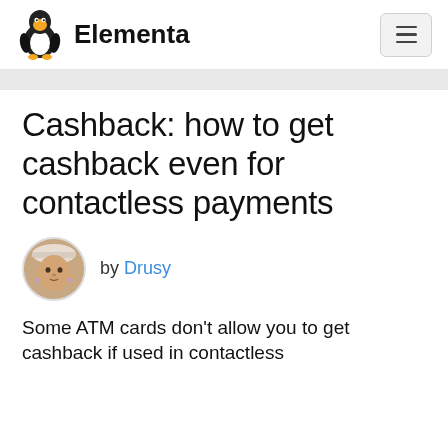Elementa
Cashback: how to get cashback even for contactless payments
by Drusy
Some ATM cards don't allow you to get cashback if used in contactless